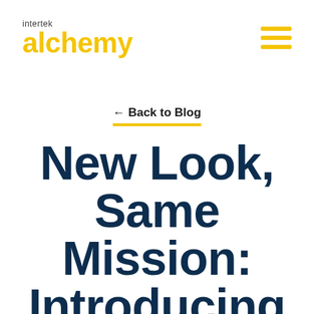[Figure (logo): Intertek Alchemy logo: 'intertek' in small dark text above 'alchemy' in large bold yellow text]
[Figure (other): Hamburger menu icon: three horizontal yellow bars]
← Back to Blog
New Look, Same Mission: Introducing Intertek